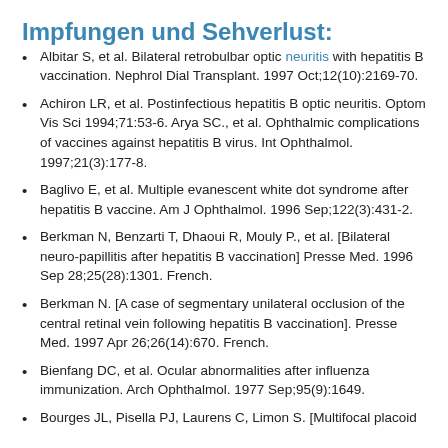Impfungen und Sehverlust:
Albitar S, et al. Bilateral retrobulbar optic neuritis with hepatitis B vaccination. Nephrol Dial Transplant. 1997 Oct;12(10):2169-70.
Achiron LR, et al. Postinfectious hepatitis B optic neuritis. Optom Vis Sci 1994;71:53-6. Arya SC., et al. Ophthalmic complications of vaccines against hepatitis B virus. Int Ophthalmol. 1997;21(3):177-8.
Baglivo E, et al. Multiple evanescent white dot syndrome after hepatitis B vaccine. Am J Ophthalmol. 1996 Sep;122(3):431-2.
Berkman N, Benzarti T, Dhaoui R, Mouly P., et al. [Bilateral neuro-papillitis after hepatitis B vaccination] Presse Med. 1996 Sep 28;25(28):1301. French.
Berkman N. [A case of segmentary unilateral occlusion of the central retinal vein following hepatitis B vaccination]. Presse Med. 1997 Apr 26;26(14):670. French.
Bienfang DC, et al. Ocular abnormalities after influenza immunization. Arch Ophthalmol. 1977 Sep;95(9):1649.
Bourges JL, Pisella PJ, Laurens C, Limon S. [Multifocal placoid